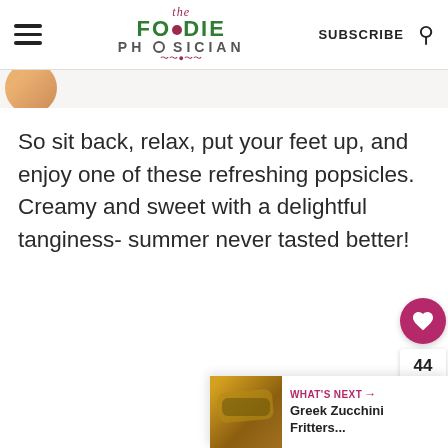The Foodie Physician — SUBSCRIBE
[Figure (photo): Partial image of a food item visible at top left, cropped]
So sit back, relax, put your feet up, and enjoy one of these refreshing popsicles. Creamy and sweet with a delightful tanginess- summer never tasted better!
[Figure (other): Heart/like button circle (pink) with count 44, and share button circle]
[Figure (photo): WHAT'S NEXT → Greek Zucchini Fritters... banner with food thumbnail]